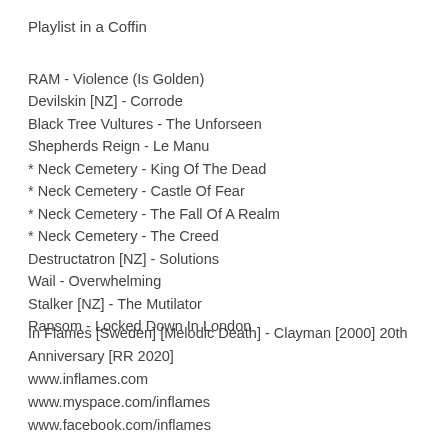Playlist in a Coffin
RAM - Violence (Is Golden)
Devilskin [NZ] - Corrode
Black Tree Vultures - The Unforseen
Shepherds Reign - Le Manu
* Neck Cemetery - King Of The Dead
* Neck Cemetery - Castle Of Fear
* Neck Cemetery - The Fall Of A Realm
* Neck Cemetery - The Creed
Destructatron [NZ] - Solutions
Wail - Overwhelming
Stalker [NZ] - The Mutilator
Ransom - Locked Down In London
In Flames [Sweden] [Melodic Death] - Clayman [2000] 20th Anniversary [RR 2020]
www.inflames.com
www.myspace.com/inflames
www.facebook.com/inflames